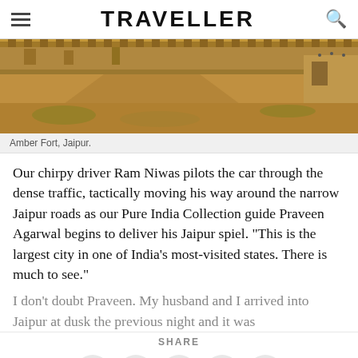TRAVELLER
[Figure (photo): Aerial/wide view of Amber Fort, Jaipur, showing the massive stone fort walls with crenellations, sandy terrain, and a pathway leading to the fort entrance with visitors visible.]
Amber Fort, Jaipur.
Our chirpy driver Ram Niwas pilots the car through the dense traffic, tactically moving his way around the narrow Jaipur roads as our Pure India Collection guide Praveen Agarwal begins to deliver his Jaipur spiel. "This is the largest city in one of India's most-visited states. There is much to see."
I don't doubt Praveen. My husband and I arrived into Jaipur at dusk the previous night and it was